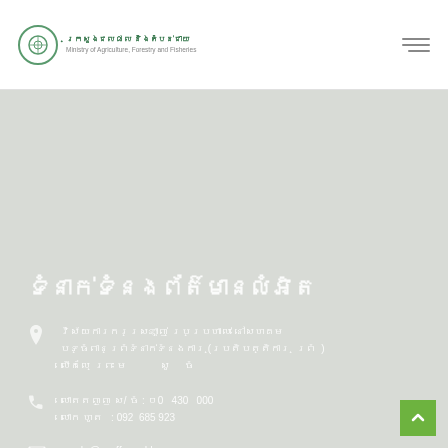Government website header with logo and navigation
ទំនាក់ទំនងព័ត៌មានលំអិត
វិស័យការពារសុខភាពចម្រៀក ប្រព្រឹត្ដ នៅសោម​ បទ្ធំពានព្រំទំនាក់ទំនងការពារ​​​បកៀបបប្រប្រដ្ឋ​​ លើកលែ ព្រះមហារស្ត្រស័ន្ននៃ​​ ចឺហ្ឡើមហន ភរាជំ​ ក​ណ​​​ ​​ ​ ​​​​​​​Chantéamuay
លោតតញ្ញ​ ស/ ចំ​ស : ០​ 0 ​ ​ ​ ​​ ០80 ​ ​​​​ 4​​​ ​3​ ​ 30​​ ​​ 0 0 0
លោก ហូត ​​​ ​ ​​ ​ ​ ​​​ : 092 685 923
casdp@maff.gov.kh